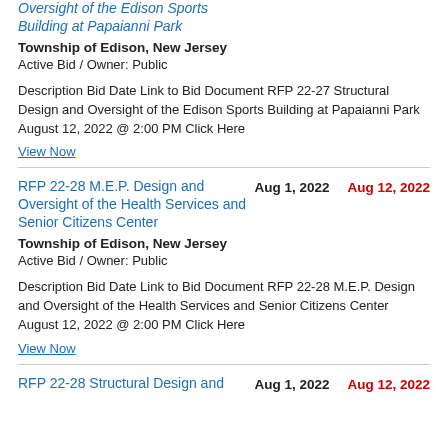Oversight of the Edison Sports Building at Papaianni Park
Township of Edison, New Jersey
Active Bid / Owner: Public
Description Bid Date Link to Bid Document RFP 22-27 Structural Design and Oversight of the Edison Sports Building at Papaianni Park August 12, 2022 @ 2:00 PM Click Here
View Now
RFP 22-28 M.E.P. Design and Oversight of the Health Services and Senior Citizens Center
Aug 1, 2022
Aug 12, 2022
Township of Edison, New Jersey
Active Bid / Owner: Public
Description Bid Date Link to Bid Document RFP 22-28 M.E.P. Design and Oversight of the Health Services and Senior Citizens Center August 12, 2022 @ 2:00 PM Click Here
View Now
RFP 22-28 Structural Design and
Aug 1, 2022
Aug 12, 2022